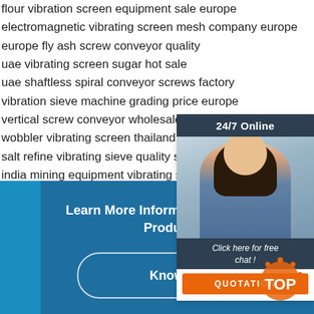flour vibration screen equipment sale europe
electromagnetic vibrating screen mesh company europe
europe fly ash screw conveyor quality
uae vibrating screen sugar hot sale
uae shaftless spiral conveyor screws factory
vibration sieve machine grading price europe
vertical screw conveyor wholesalers
wobbler vibrating screen thailand
salt refine vibrating sieve quality singapore
india mining equipment vibrating screen 3d model
food vibrating screen wholesalers uae
[Figure (photo): Customer service representative with headset, smiling. Widget with '24/7 Online' header, 'Click here for free chat!' text, and orange QUOTATION button.]
Learn More Information About Our Products
Know More